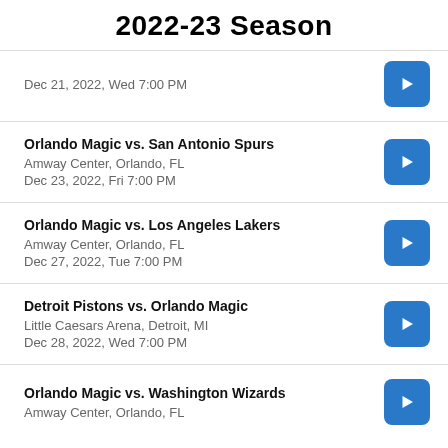2022-23 Season
Dec 21, 2022, Wed 7:00 PM
Orlando Magic vs. San Antonio Spurs
Amway Center, Orlando, FL
Dec 23, 2022, Fri 7:00 PM
Orlando Magic vs. Los Angeles Lakers
Amway Center, Orlando, FL
Dec 27, 2022, Tue 7:00 PM
Detroit Pistons vs. Orlando Magic
Little Caesars Arena, Detroit, MI
Dec 28, 2022, Wed 7:00 PM
Orlando Magic vs. Washington Wizards
Amway Center, Orlando, FL